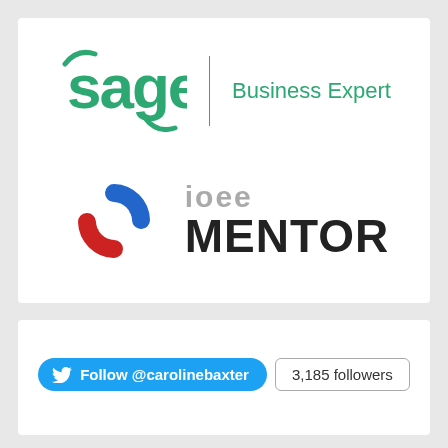[Figure (logo): Sage Business Expert logo with green Sage wordmark and vertical divider, followed by 'Business Expert' text in green]
[Figure (logo): IOEE Mentor logo with circular blue and red arrows icon alongside 'ioee' in grey and 'MENTOR' in bold black text]
[Figure (screenshot): Twitter Follow button for @carolinebaxter with 3,185 followers badge]